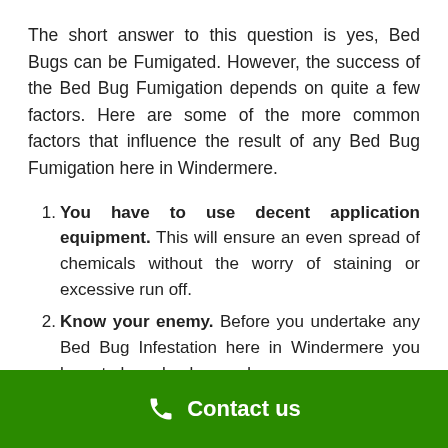The short answer to this question is yes, Bed Bugs can be Fumigated. However, the success of the Bed Bug Fumigation depends on quite a few factors. Here are some of the more common factors that influence the result of any Bed Bug Fumigation here in Windermere.
You have to use decent application equipment. This will ensure an even spread of chemicals without the worry of staining or excessive run off.
Know your enemy. Before you undertake any Bed Bug Infestation here in Windermere you have to have background
Contact us